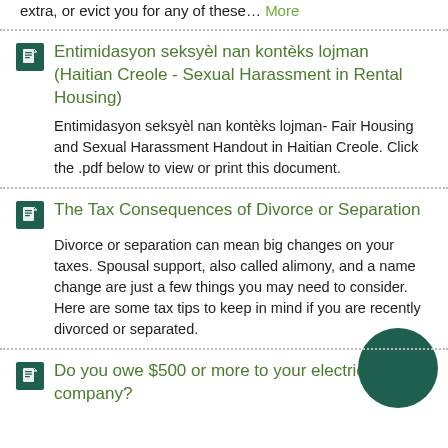extra, or evict you for any of these... More
Entimidasyon seksyèl nan kontèks lojman (Haitian Creole - Sexual Harassment in Rental Housing)
Entimidasyon seksyèl nan kontèks lojman- Fair Housing and Sexual Harassment Handout in Haitian Creole. Click the .pdf below to view or print this document.
The Tax Consequences of Divorce or Separation
Divorce or separation can mean big changes on your taxes. Spousal support, also called alimony, and a name change are just a few things you may need to consider. Here are some tax tips to keep in mind if you are recently divorced or separated.
Do you owe $500 or more to your electric company?